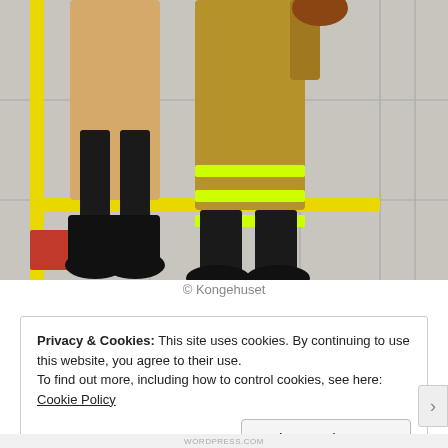[Figure (photo): Lower bodies of two people standing on a tiled floor with yellow stripe markings. One person wears a beige coat with black boots; the other wears a yellow-tan firefighter uniform with high-visibility reflective strips and black boots. A red object is partially visible at the lower left.]
© Kongehuset
Privacy & Cookies: This site uses cookies. By continuing to use this website, you agree to their use.
To find out more, including how to control cookies, see here: Cookie Policy
Close and accept